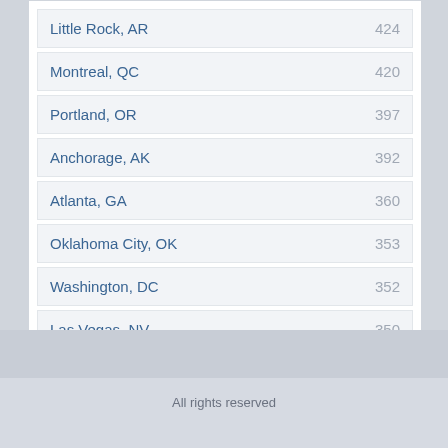Little Rock, AR  424
Montreal, QC  420
Portland, OR  397
Anchorage, AK  392
Atlanta, GA  360
Oklahoma City, OK  353
Washington, DC  352
Las Vegas, NV  350
Boise, ID  343
Chicago, IL  330
All rights reserved